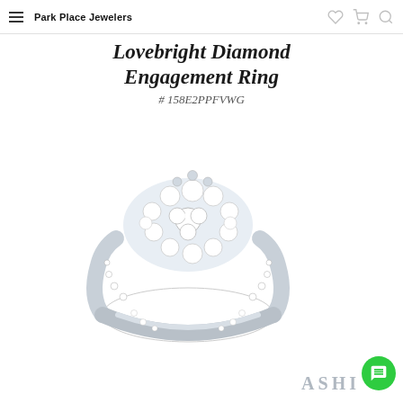Park Place Jewelers
Lovebright Diamond Engagement Ring
# 158E2PPFVWG
[Figure (photo): A diamond engagement ring with a cluster of round diamonds at the center and pavé-set diamonds along the band, displayed on a white background. Watermark 'ASHI' visible in lower right.]